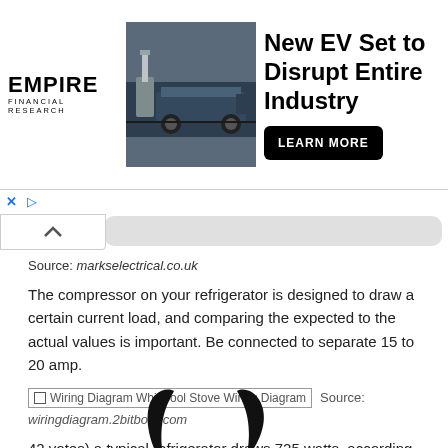[Figure (screenshot): Advertisement banner: Empire Financial Research logo on left, photo of EV charging truck in center, headline 'New EV Set to Disrupt Entire Industry' with 'LEARN MORE' button on right]
Source: markselectrical.co.uk
The compressor on your refrigerator is designed to draw a certain current load, and comparing the expected to the actual values is important. Be connected to separate 15 to 20 amp.
[Figure (screenshot): Broken image placeholder labeled 'Wiring Diagram Whirlpool Stove Wiring Diagram' with Source: wiringdiagram.2bitboer.com]
42 votes) a typical refrigerator draws 725 watts, according to the united states department of energy. Click to see full answer.
[Figure (photo): Bottom portion showing two black curved horn shapes]